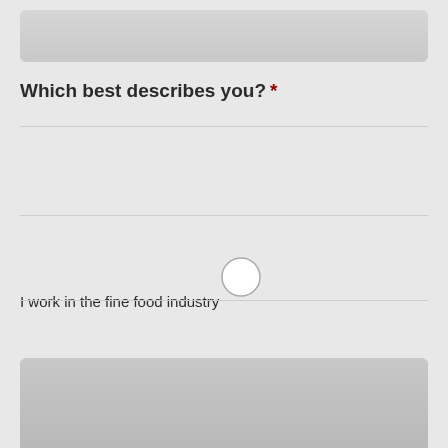[Figure (other): Top input bar area, grey rounded rectangle]
Which best describes you? *
I work in the fine food industry
I'm a food lover
I'm both!
Enquiry details
[Figure (other): Bottom textarea area, grey rounded rectangle]